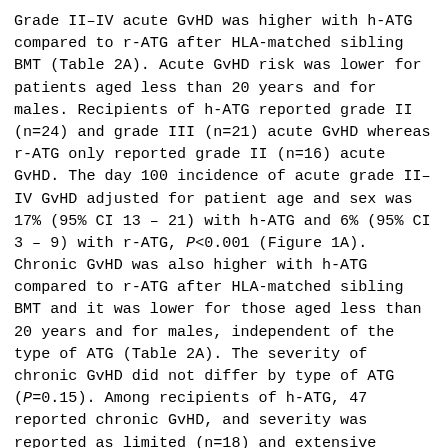Grade II–IV acute GvHD was higher with h-ATG compared to r-ATG after HLA-matched sibling BMT (Table 2A). Acute GvHD risk was lower for patients aged less than 20 years and for males. Recipients of h-ATG reported grade II (n=24) and grade III (n=21) acute GvHD whereas r-ATG only reported grade II (n=16) acute GvHD. The day 100 incidence of acute grade II–IV GvHD adjusted for patient age and sex was 17% (95% CI 13 – 21) with h-ATG and 6% (95% CI 3 – 9) with r-ATG, P<0.001 (Figure 1A). Chronic GvHD was also higher with h-ATG compared to r-ATG after HLA-matched sibling BMT and it was lower for those aged less than 20 years and for males, independent of the type of ATG (Table 2A). The severity of chronic GvHD did not differ by type of ATG (P=0.15). Among recipients of h-ATG, 47 reported chronic GvHD, and severity was reported as limited (n=18) and extensive (n=29). Among recipients of r-ATG, 21 reported